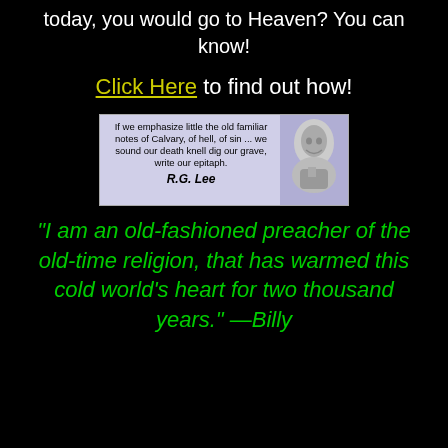today, you would go to Heaven? You can know!
Click Here to find out how!
[Figure (illustration): Quote banner with R.G. Lee portrait and text: 'If we emphasize little the old familiar notes of Calvary, of hell, of sin ... we sound our death knell dig our grave, write our epitaph. R.G. Lee']
"I am an old-fashioned preacher of the old-time religion, that has warmed this cold world's heart for two thousand years." —Billy